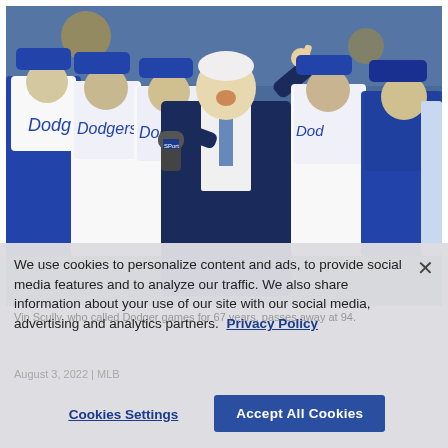[Figure (photo): An elderly sportscaster in a dark blue suit holding a microphone and pointing upward with one finger, standing in front of Los Angeles Dodgers players in white and blue uniforms.]
We use cookies to personalize content and ads, to provide social media features and to analyze our traffic. We also share information about your use of our site with our social media, advertising and analytics partners.  Privacy Policy
Cookies Settings
Accept All Cookies